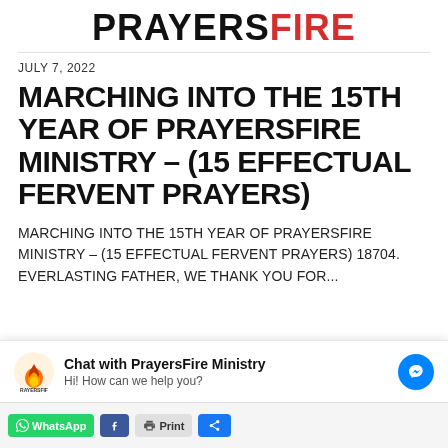[Figure (logo): PrayersFire logo with PRAYERS in black bold uppercase and FIRE in red bold uppercase]
JULY 7, 2022
MARCHING INTO THE 15TH YEAR OF PRAYERSFIRE MINISTRY – (15 EFFECTUAL FERVENT PRAYERS)
MARCHING INTO THE 15TH YEAR OF PRAYERSFIRE MINISTRY – (15 EFFECTUAL FERVENT PRAYERS) 18704. EVERLASTING FATHER, WE THANK YOU FOR...
[Figure (other): Chat widget: PrayersFire Ministry logo, text 'Chat with PrayersFire Ministry' and 'Hi! How can we help you?', blue Messenger icon button]
[Figure (other): Bottom share toolbar with WhatsApp, Facebook, Print, and other share buttons]